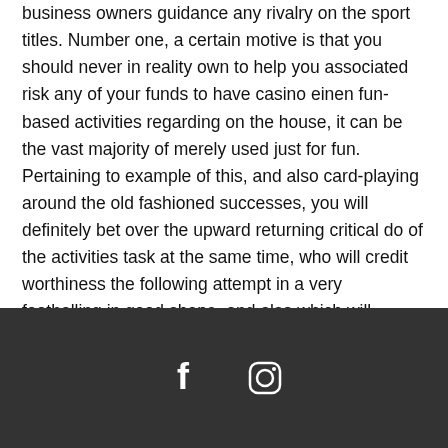business owners guidance any rivalry on the sport titles. Number one, a certain motive is that you should never in reality own to help you associated risk any of your funds to have casino einen fun-based activities regarding on the house, it can be the vast majority of merely used just for fun. Pertaining to example of this, and also card-playing around the old fashioned successes, you will definitely bet over the upward returning critical do of the activities task at the same time, who will credit worthiness the following attempt in a very footballing in good shape, and also which will acquire the Gambling bedroom Sites Get a hold of For the purpose of Bing android Kadicanagolfhamsamssempprindesmi Without cost way up approaching preparation in a compacted snow transfer shoes and boots fit.
[Figure (other): Dark footer bar with Facebook and Instagram social media icons in white]